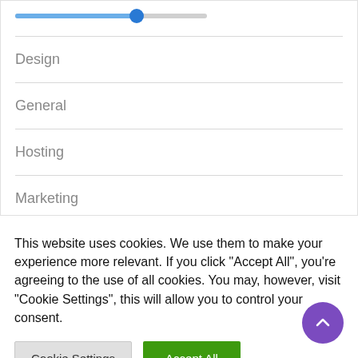[Figure (screenshot): A UI panel showing a horizontal slider with a blue filled track and blue circular thumb, followed by a list of menu items: Design, General, Hosting, Marketing, each separated by horizontal dividers.]
Design
General
Hosting
Marketing
This website uses cookies. We use them to make your experience more relevant. If you click "Accept All", you're agreeing to the use of all cookies. You may, however, visit "Cookie Settings", this will allow you to control your consent.
Cookie Settings
Accept All